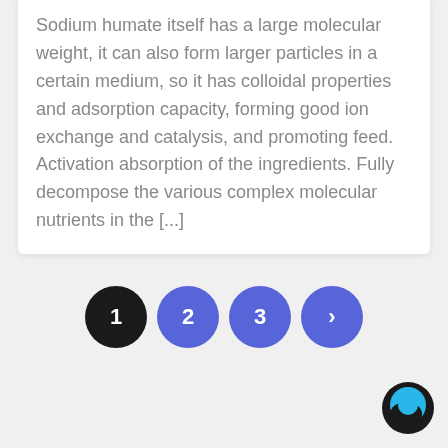Sodium humate itself has a large molecular weight, it can also form larger particles in a certain medium, so it has colloidal properties and adsorption capacity, forming good ion exchange and catalysis, and promoting feed. Activation absorption of the ingredients. Fully decompose the various complex molecular nutrients in the [...]
1 2 3 ›